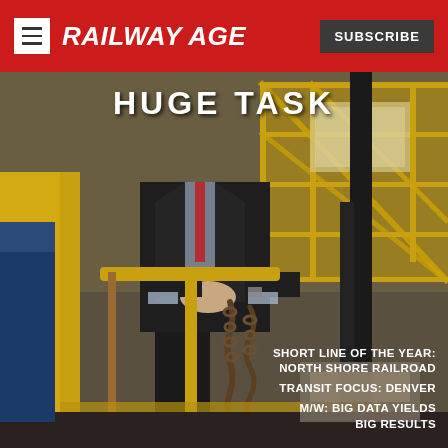RAILWAY AGE
[Figure (photo): Magazine cover showing a man in a dark suit standing near yellow railroad maintenance equipment with chains in an industrial rail facility. Text 'HUGE TASK' visible in upper portion.]
HUGE TASK
SHORT LINE OF THE YEAR: NORTH SHORE RAILROAD
TRANSIT FOCUS: DENVER
M/W: BIG DATA YIELDS BIG RESULTS